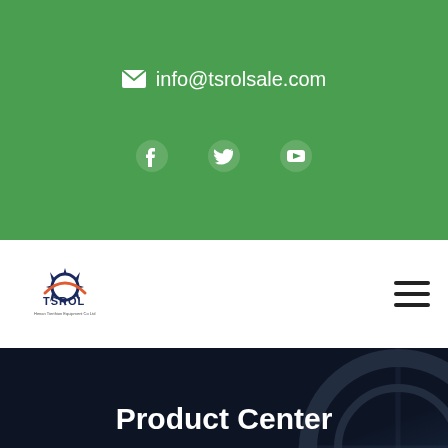info@tsrolsale.com
[Figure (logo): TSROL company logo with gear icon and text]
Product Center
Home > Products > spherical roller bearing railways engineering vehicle machinery